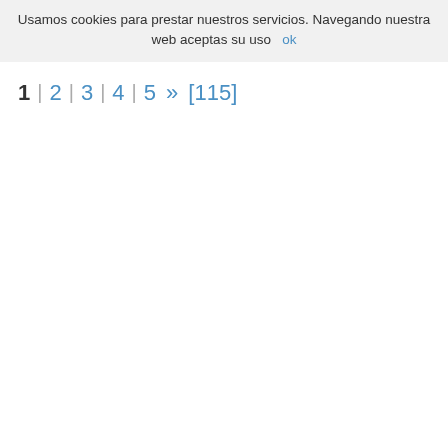Usamos cookies para prestar nuestros servicios. Navegando nuestra web aceptas su uso  ok
1 | 2 | 3 | 4 | 5 » [115]